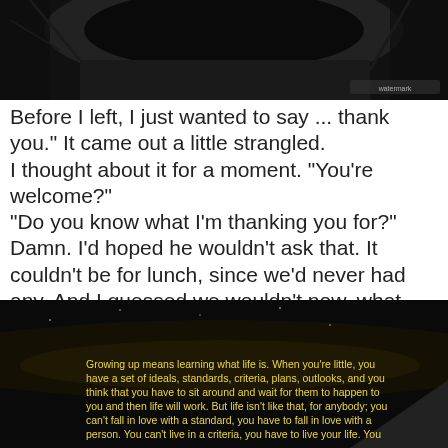[Figure (photo): Dark moody photograph of a covered bridge or archway scene with dark trees/branches, black and white or very dark tones, watermark text visible in lower right corner.]
Before I left, I just wanted to say ... thank you." It came out a little strangled.
I thought about it for a moment. "You're welcome?"
"Do you know what I'm thanking you for?"
Damn. I'd hoped he wouldn't ask that. It couldn't be for lunch, since we'd never had any. And I guessed we wouldn't now, what with a possessed fridge and all.
"No?" I said, figuring I had a fifty-fifty shot. — Karen Chance
[Figure (photo): Dark night sky photograph with a quote in yellow text: 'Growing up means learning what life is. When you're little, you have a set of ideals, standards, criteria, plans, outlooks, and you think that you have to sit around and wait for them to happen to you and then life will work. But life isn't like that, for anybody; you can't fall in love with a standard, you have to fall in love with a person. You can't live in a criteria, you have to live your life. You can't wait for your plans to materialize, because they may never']